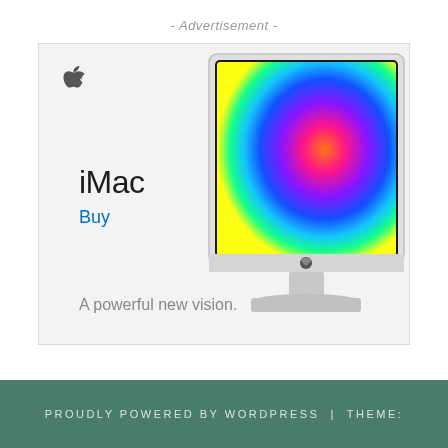- Advertisement -
[Figure (photo): Apple iMac advertisement banner showing an iMac with colorful swirl wallpaper on screen, Apple logo top-left, text 'iMac', 'Buy', and 'A powerful new vision.']
PROUDLY POWERED BY WORDPRESS | THEME: